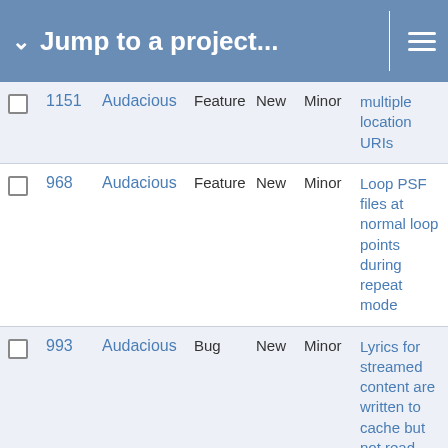Jump to a project...
|  | # | Project | Type | Status | Priority | Subject |
| --- | --- | --- | --- | --- | --- | --- |
|  | 1151 | Audacious | Feature | New | Minor | multiple location URIs |
|  | 968 | Audacious | Feature | New | Minor | Loop PSF files at normal loop points during repeat mode |
|  | 993 | Audacious | Bug | New | Minor | Lyrics for streamed content are written to cache but not read. |
|  | 1093 | Audacious | Feature | New | Minor | Make the Song Dialog (Qt) window wider by default |
|  | 1057 | Audacious | Feature | New | Minor | Matroska (mka) chapter support |
|  | 1183 | Audacious | Feature | New | Minor | Minimize to tray - Status Icon plugin |
|  | 1142 | Audacious | Feature | New | Minor | MusicBrainz support for CD plugin |